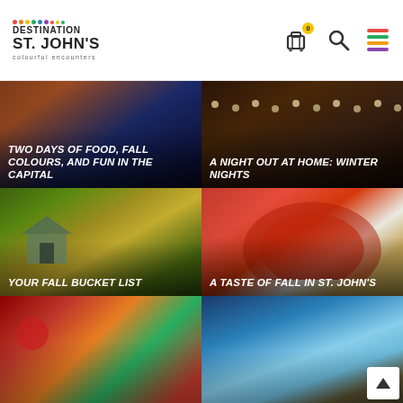[Figure (logo): Destination St. John's colourful encounters logo with colorful dots]
[Figure (screenshot): Website header navigation icons: luggage/itinerary with badge 0, search magnifier, hamburger menu in multicolor]
[Figure (photo): Photo card: Two Days of Food, Fall Colours, and Fun in the Capital - dark blue plaid fabric background]
[Figure (photo): Photo card: A Night Out at Home: Winter Nights - warm dark wood ceiling with string lights]
[Figure (photo): Photo card: Your Fall Bucket List - house with yellow autumn trees]
[Figure (photo): Photo card: A Taste of Fall in St. John's - red tomato soup with grilled sandwich]
[Figure (photo): Photo card bottom left: food platter partially visible]
[Figure (photo): Photo card bottom right: coastal cliffs and sea partially visible with scroll-to-top button]